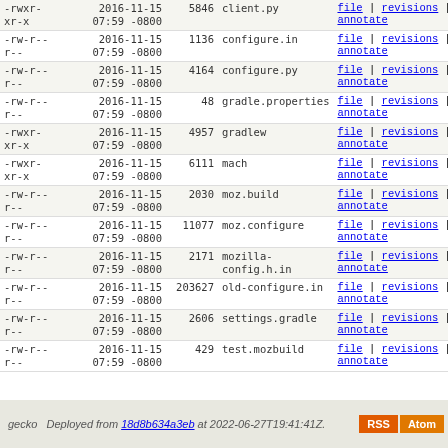| permissions | date | size | filename | links |
| --- | --- | --- | --- | --- |
| -rwxr-xr-x | 2016-11-15 07:59 -0800 | 5846 | client.py | file | revisions | annotate |
| -rw-r--r-- | 2016-11-15 07:59 -0800 | 1136 | configure.in | file | revisions | annotate |
| -rw-r--r-- | 2016-11-15 07:59 -0800 | 4164 | configure.py | file | revisions | annotate |
| -rw-r--r-- | 2016-11-15 07:59 -0800 | 48 | gradle.properties | file | revisions | annotate |
| -rwxr-xr-x | 2016-11-15 07:59 -0800 | 4957 | gradlew | file | revisions | annotate |
| -rwxr-xr-x | 2016-11-15 07:59 -0800 | 6111 | mach | file | revisions | annotate |
| -rw-r--r-- | 2016-11-15 07:59 -0800 | 2030 | moz.build | file | revisions | annotate |
| -rw-r--r-- | 2016-11-15 07:59 -0800 | 11077 | moz.configure | file | revisions | annotate |
| -rw-r--r-- | 2016-11-15 07:59 -0800 | 2171 | mozilla-config.h.in | file | revisions | annotate |
| -rw-r--r-- | 2016-11-15 07:59 -0800 | 203627 | old-configure.in | file | revisions | annotate |
| -rw-r--r-- | 2016-11-15 07:59 -0800 | 2606 | settings.gradle | file | revisions | annotate |
| -rw-r--r-- | 2016-11-15 07:59 -0800 | 429 | test.mozbuild | file | revisions | annotate |
gecko   Deployed from 18d8b634a3eb at 2022-06-27T19:41:41Z.